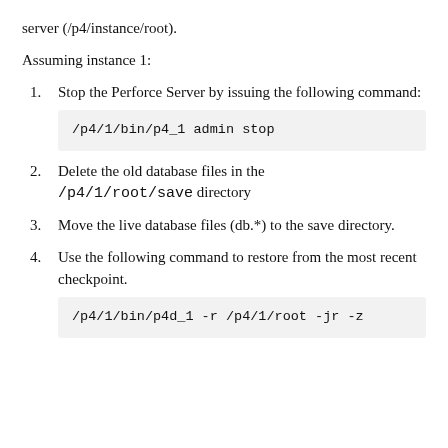server (/p4/instance/root).
Assuming instance 1:
1. Stop the Perforce Server by issuing the following command:
2. Delete the old database files in the /p4/1/root/save directory
3. Move the live database files (db.*) to the save directory.
4. Use the following command to restore from the most recent checkpoint.